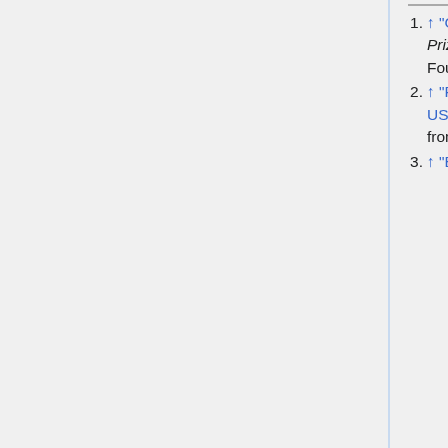1. ↑ "George William Gray". The 1995 Kyoto Prize - Advanced Technology. Inamori Foundation. Retrieved 19 July 2019.
2. ↑ "Retired Maj. Gen. William B. Maxson, USAF". The Advertiser Tribune. Archived from the original on 29 January 2013.
3. ↑ "Beyonce l...